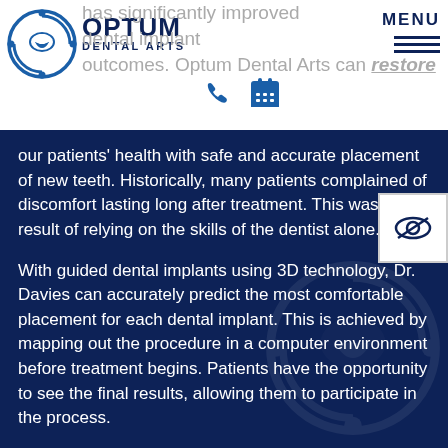Optum Dental Arts — MENU navigation bar
has significantly improved dental implant outcomes. Optum Dental Arts can restore our patients' health with safe and accurate placement of new teeth. Historically, many patients complained of discomfort lasting long after treatment. This was a result of relying on the skills of the dentist alone.
With guided dental implants using 3D technology, Dr. Davies can accurately predict the most comfortable placement for each dental implant. This is achieved by mapping out the procedure in a computer environment before treatment begins. Patients have the opportunity to see the final results, allowing them to participate in the process.
Optum Dental Arts can also reduce wait times